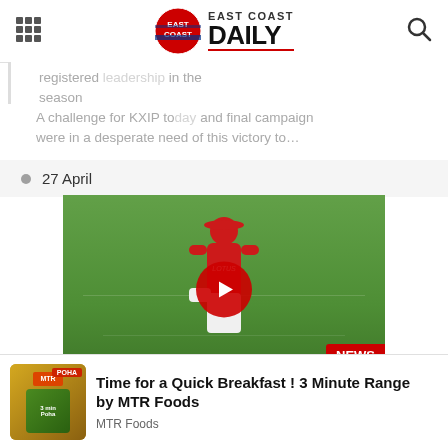East Coast Daily
were in a desperate need of this victory to…
27 April
[Figure (screenshot): Cricket match video thumbnail showing a cricket player in red KXIP jersey on a green field. Scoreboard shows KXIP v SRH 28-3, M PANDEY 9 10, SRAN 0-18, SHAKIB 0 2, VIVO IPL 2018. A red play button is overlaid in the center. NEWS badge on bottom right.]
[Figure (logo): MTR Foods advertisement showing Poha product with green packaging. Text: Time for a Quick Breakfast ! 3 Minute Range by MTR Foods. Brand: MTR Foods.]